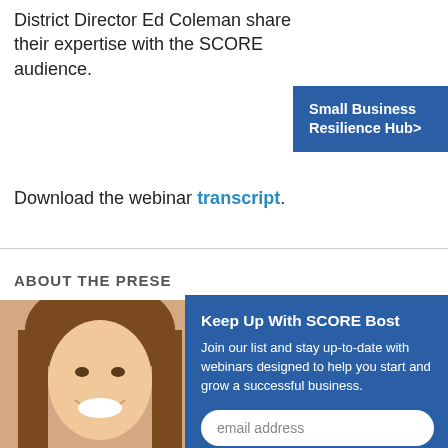District Director Ed Coleman share their expertise with the SCORE audience.
Small Business Resilience Hub>
Download the webinar transcript.
ABOUT THE PRESE...
[Figure (photo): Smiling woman with long brown hair, head and shoulders cropped photo]
Keep Up With SCORE Bost... Join our list and stay up-to-date with webinars designed to help you start and grow a successful business.
email address